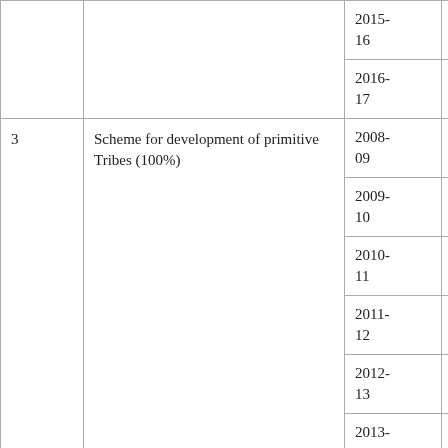| No. | Scheme | Year | Amount |
| --- | --- | --- | --- |
|  |  | 2015-16 | 13374.00 |
|  |  | 2016-17 | 11536.53 |
| 3 | Scheme for development of primitive Tribes (100%) | 2008-09 | 2007.98 |
|  |  | 2009-10 | 2007.98 |
|  |  | 2010-11 | 2007.98 |
|  |  | 2011-12 | Nil |
|  |  | 2012-13 | Nil |
|  |  | 2013-14 | 2610.00 |